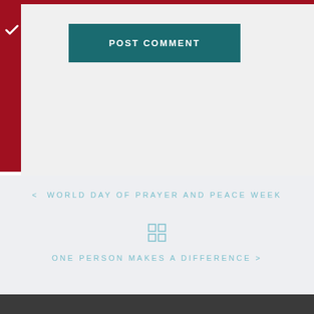[Figure (other): POST COMMENT button — teal/dark cyan rectangular button with white uppercase text]
< WORLD DAY OF PRAYER AND PEACE WEEK
[Figure (other): Grid/menu icon made of four squares in teal color]
ONE PERSON MAKES A DIFFERENCE >